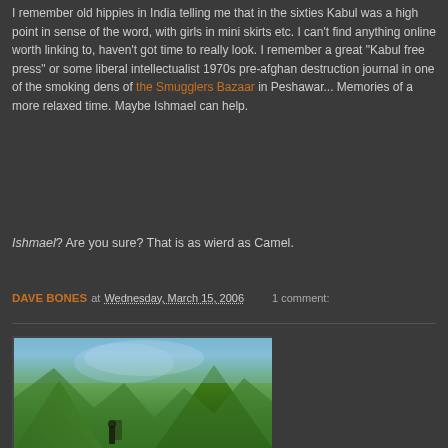I remember old hippies in India telling me that in the sixties Kabul was a high point in sense of the word, with girls in mini skirts etc. I can't find anything online worth linking to, haven't got time to really look. I remember a great "Kabul free press" or some liberal intellectualist 1970s pre-afghan destruction journal in one of the smoking dens of the Smugglers Bazaar in Peshawar... Memories of a more relaxed time. Maybe Ishmael can help.
Ishmael? Are you sure? That is as wierd as Camel.
DAVE BONES at Wednesday, March 15, 2006   1 comment:
[Figure (photo): Photograph of a valley or hillside with green vegetation, trees, and a mountain landscape, with a person standing in the foreground.]